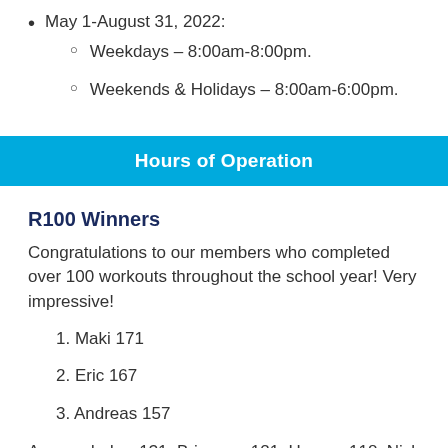May 1-August 31, 2022:
Weekdays – 8:00am-8:00pm.
Weekends & Holidays – 8:00am-6:00pm.
Hours of Operation
R100 Winners
Congratulations to our members who completed over 100 workouts throughout the school year! Very impressive!
1. Maki 171
2. Eric 167
3. Andreas 157
Avaneedndra -131, Brianna - 121, Henry - 118, Nick -